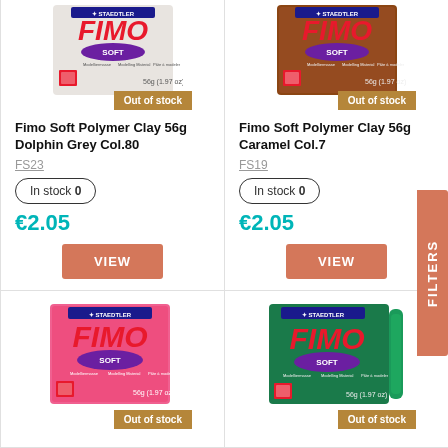[Figure (photo): Fimo Soft Polymer Clay 56g Dolphin Grey product box with 'Out of stock' badge]
Fimo Soft Polymer Clay 56g Dolphin Grey Col.80
FS23
In stock 0
€2.05
VIEW
[Figure (photo): Fimo Soft Polymer Clay 56g Caramel product box with 'Out of stock' badge]
Fimo Soft Polymer Clay 56g Caramel Col.7
FS19
In stock 0
€2.05
VIEW
[Figure (photo): Fimo Soft Polymer Clay pink product box with 'Out of stock' badge]
[Figure (photo): Fimo Soft Polymer Clay green product box with 'Out of stock' badge]